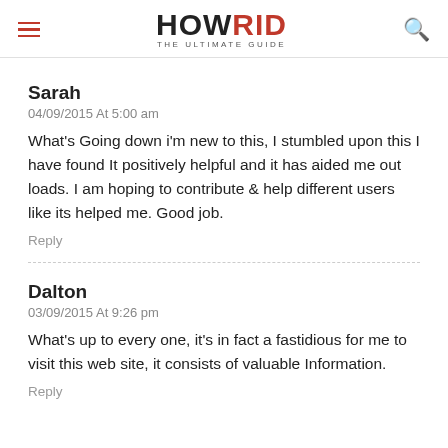HOWRID THE ULTIMATE GUIDE
Sarah
04/09/2015 At 5:00 am
What's Going down i'm new to this, I stumbled upon this I have found It positively helpful and it has aided me out loads. I am hoping to contribute & help different users like its helped me. Good job.
Reply
Dalton
03/09/2015 At 9:26 pm
What's up to every one, it's in fact a fastidious for me to visit this web site, it consists of valuable Information.
Reply